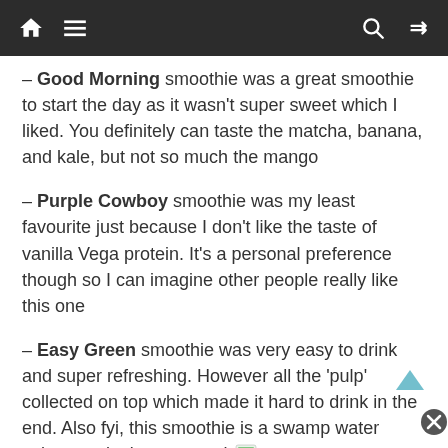Navigation bar with home, menu, search, and shuffle icons
– Good Morning smoothie was a great smoothie to start the day as it wasn't super sweet which I liked. You definitely can taste the matcha, banana, and kale, but not so much the mango
– Purple Cowboy smoothie was my least favourite just because I don't like the taste of vanilla Vega protein. It's a personal preference though so I can imagine other people really like this one
– Easy Green smoothie was very easy to drink and super refreshing. However all the 'pulp' collected on top which made it hard to drink in the end. Also fyi, this smoothie is a swamp water colour so don't get scared 🌿
– Kitsilano Sunrise was delicious and not very sweet